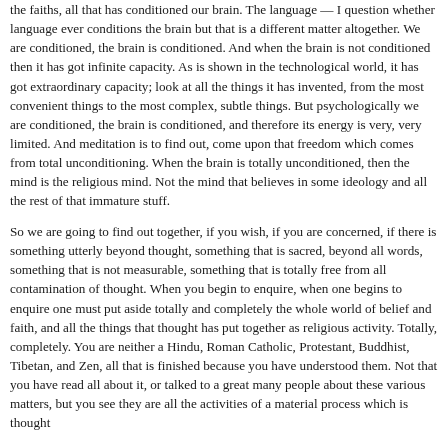the faiths, all that has conditioned our brain. The language — I question whether language ever conditions the brain but that is a different matter altogether. We are conditioned, the brain is conditioned. And when the brain is not conditioned then it has got infinite capacity. As is shown in the technological world, it has got extraordinary capacity; look at all the things it has invented, from the most convenient things to the most complex, subtle things. But psychologically we are conditioned, the brain is conditioned, and therefore its energy is very, very limited. And meditation is to find out, come upon that freedom which comes from total unconditioning. When the brain is totally unconditioned, then the mind is the religious mind. Not the mind that believes in some ideology and all the rest of that immature stuff.
So we are going to find out together, if you wish, if you are concerned, if there is something utterly beyond thought, something that is sacred, beyond all words, something that is not measurable, something that is totally free from all contamination of thought. When you begin to enquire, when one begins to enquire one must put aside totally and completely the whole world of belief and faith, and all the things that thought has put together as religious activity. Totally, completely. You are neither a Hindu, Roman Catholic, Protestant, Buddhist, Tibetan, and Zen, all that is finished because you have understood them. Not that you have read all about it, or talked to a great many people about these various matters, but you see they are all the activities of a material process which is thought